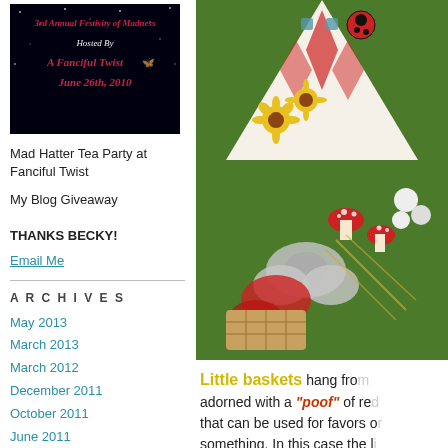[Figure (photo): 3rd Annual Festivity of Madness Mad Hatter Tea Party banner image with dark background and decorative text]
Mad Hatter Tea Party at Fanciful Twist
My Blog Giveaway
THANKS BECKY!
Email Me
ARCHIVES
May 2013
March 2013
March 2012
December 2011
October 2011
June 2011
April 2011
February 2011
January 2011
December 2010
[Figure (photo): Colorful party decoration photo showing baskets with sunflowers, ladybugs, red mushrooms, silver glitter butterflies, and red tissue paper]
Little baskets hang from adorned with a "poof" of re that can be used for favors o something. In this case the l of spectacles just the right s